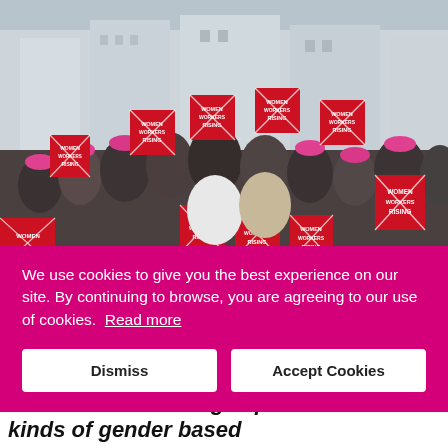[Figure (photo): A crowd of people holding red and white 'WOMEN WORKERS RISING' signs, many wearing pink hats, gathered outdoors in an urban setting.]
We use cookies to give you the best experience on our site. By continuing to browse, you are agreeing to our use of cookies.  Read more
Dismiss
Accept Cookies
more at risk of being exposed to all kinds of gender based